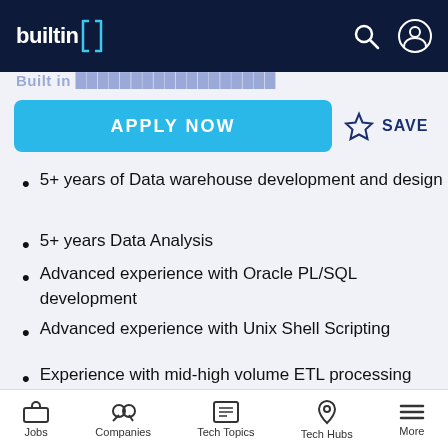builtin
APPLY NOW   SAVE
5+ years of Data warehouse development and design
5+ years Data Analysis
Advanced experience with Oracle PL/SQL development
Advanced experience with Unix Shell Scripting
Experience with mid-high volume ETL processing
Experience with formal System Development Lifecycle and Data Quality
Jobs   Companies   Tech Topics   Tech Hubs   More